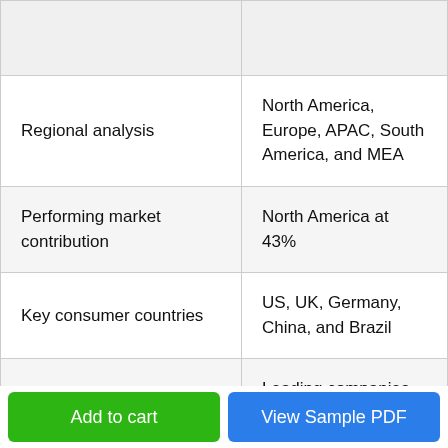|  |  |
| --- | --- |
|  |  |
| Regional analysis | North America, Europe, APAC, South America, and MEA |
| Performing market contribution | North America at 43% |
| Key consumer countries | US, UK, Germany, China, and Brazil |
| Competitive landscape | Leading companies, Competitive strategies, Consumer engagement |
Add to cart
View Sample PDF